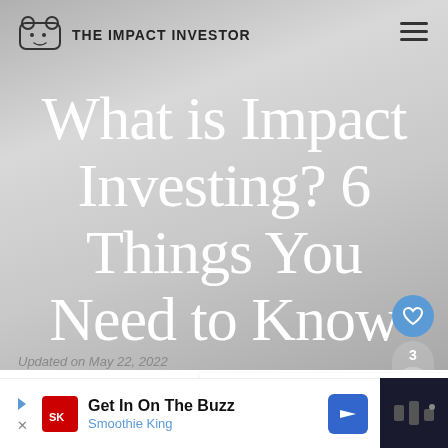THE IMPACT INVESTOR
What is Impact Investing? 6 Things You Need to Know
WHAT'S NEXT → History of Impact...
Updated on May 22, 2022
Get In On The Buzz
Smoothie King